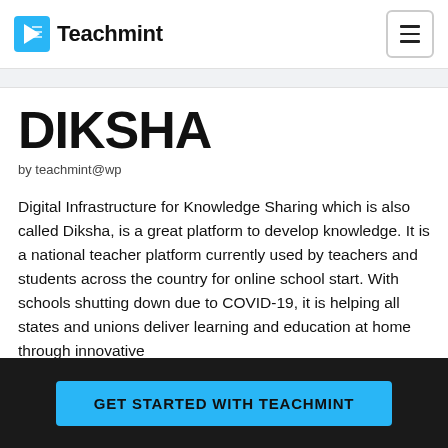Teachmint
DIKSHA
by teachmint@wp
Digital Infrastructure for Knowledge Sharing which is also called Diksha, is a great platform to develop knowledge. It is a national teacher platform currently used by teachers and students across the country for online school start. With schools shutting down due to COVID-19, it is helping all states and unions deliver learning and education at home through innovative
GET STARTED WITH TEACHMINT